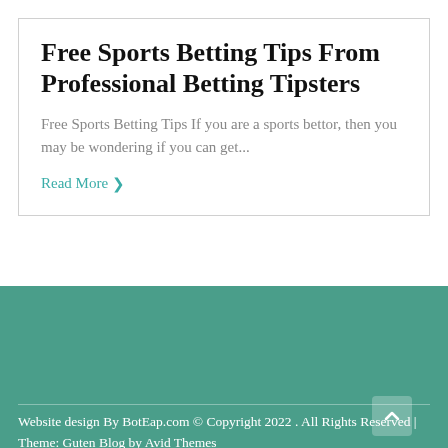Free Sports Betting Tips From Professional Betting Tipsters
Free Sports Betting Tips If you are a sports bettor, then you may be wondering if you can get...
Read More ›
Website design By BotEap.com © Copyright 2022 . All Rights Reserved | Theme: Guten Blog by Avid Themes